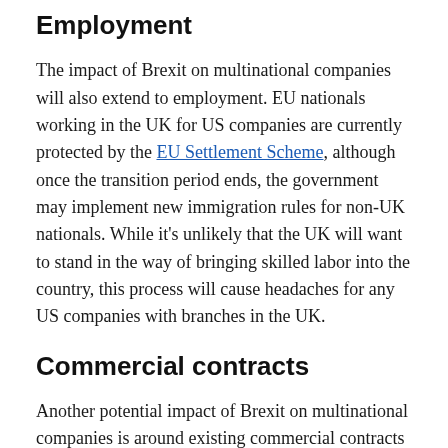Employment
The impact of Brexit on multinational companies will also extend to employment. EU nationals working in the UK for US companies are currently protected by the EU Settlement Scheme, although once the transition period ends, the government may implement new immigration rules for non-UK nationals. While it’s unlikely that the UK will want to stand in the way of bringing skilled labor into the country, this process will cause headaches for any US companies with branches in the UK.
Commercial contracts
Another potential impact of Brexit on multinational companies is around existing commercial contracts